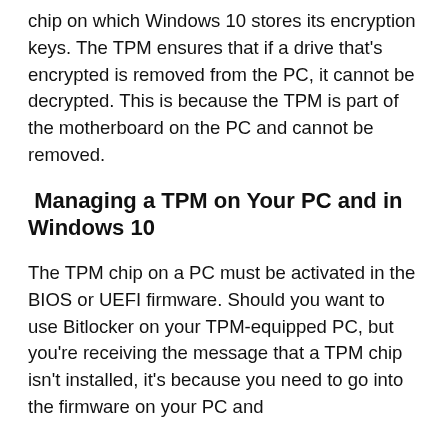chip on which Windows 10 stores its encryption keys. The TPM ensures that if a drive that's encrypted is removed from the PC, it cannot be decrypted. This is because the TPM is part of the motherboard on the PC and cannot be removed.
Managing a TPM on Your PC and in Windows 10
The TPM chip on a PC must be activated in the BIOS or UEFI firmware. Should you want to use Bitlocker on your TPM-equipped PC, but you're receiving the message that a TPM chip isn't installed, it's because you need to go into the firmware on your PC and